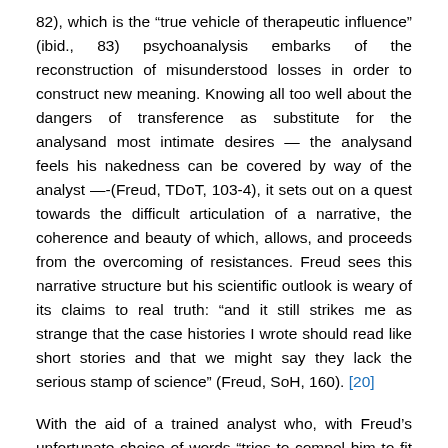82), which is the “true vehicle of therapeutic influence” (ibid., 83) psychoanalysis embarks of the reconstruction of misunderstood losses in order to construct new meaning. Knowing all too well about the dangers of transference as substitute for the analysand most intimate desires — the analysand feels his nakedness can be covered by way of the analyst —-(Freud, TDoT, 103-4), it sets out on a quest towards the difficult articulation of a narrative, the coherence and beauty of which, allows, and proceeds from the overcoming of resistances. Freud sees this narrative structure but his scientific outlook is weary of its claims to real truth: “and it still strikes me as strange that the case histories I wrote should read like short stories and that we might say they lack the serious stamp of science” (Freud, SoH, 160). [20]
With the aid of a trained analyst who, with Freud’s unfortunate choice of words “tries to compel him to fit these emotional impulses into the nexus of the treatment and of his life history” (Freud, TDoT,, 108). The analysand is given the tools through